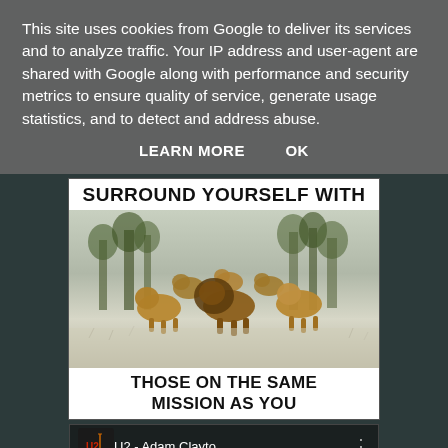This site uses cookies from Google to deliver its services and to analyze traffic. Your IP address and user-agent are shared with Google along with performance and security metrics to ensure quality of service, generate usage statistics, and to detect and address abuse.
LEARN MORE   OK
[Figure (illustration): Motivational meme image showing a group of lions walking together on a snowy/frosty field with trees in background. Top text: 'SURROUND YOURSELF WITH'. Bottom text: 'THOSE ON THE SAME MISSION AS YOU'.]
[Figure (screenshot): Music player bar showing U2 - Adam Clayto... with a three-dot menu icon. Dark background with U2 logo icon on the left.]